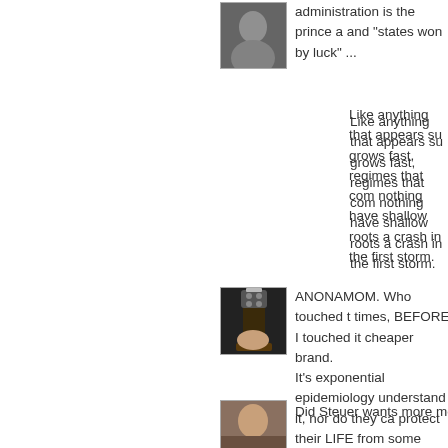[Figure (photo): Avatar image - person portrait, partially visible at top]
administration is the prince a and "states won by luck" ...
Like anything that appears su grows fast, regimes that com nothing have shallow roots a crash in the first storm.
[Figure (photo): Avatar image - guitar headstock held by a hand]
ANONAMOM. Who touched t times, BEFORE, I touched it cheaper brand.
It's exponential epidemiology understand it, nor do they ca protect their LIFE from some

OBVIOUSLY Donald Trump v He's ORANGE.
[Figure (photo): Avatar image - person portrait, partially visible at bottom]